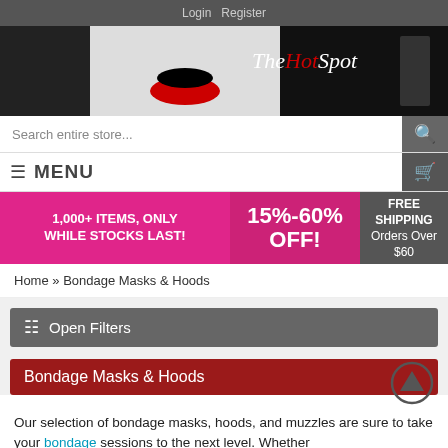Login   Register
[Figure (screenshot): The Hot Spot website banner with close-up lips image and site name in italic script]
Search entire store...
≡ MENU
1,000+ ITEMS, ONLY WHILE STOCKS LAST! | 15%-60% OFF! | FREE SHIPPING Orders Over $60
Home » Bondage Masks & Hoods
Open Filters
Bondage Masks & Hoods
Our selection of bondage masks, hoods, and muzzles are sure to take your bondage sessions to the next level. Whether